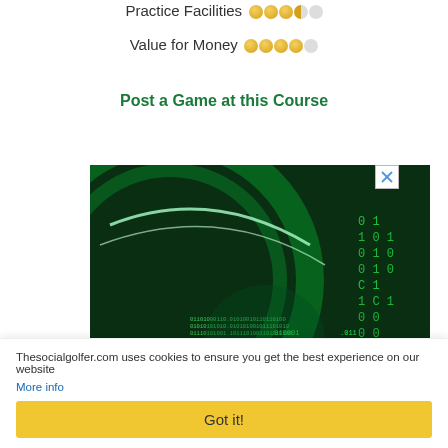Practice Facilities ●●●○○
Value for Money ●●●●○
Post a Game at this Course
[Figure (photo): Green-tinted binary code / digital security advertisement image with matrix-style numbers on dark green background]
Thesocialgolfer.com uses cookies to ensure you get the best experience on our website
More info
Got it!